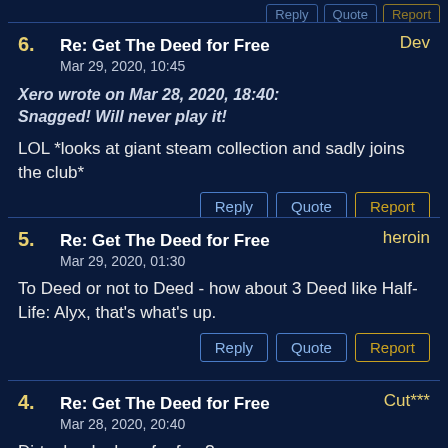6. Re: Get The Deed for Free — Dev, Mar 29, 2020, 10:45. Quote: Xero wrote on Mar 28, 2020, 18:40: Snagged! Will never play it! Body: LOL *looks at giant steam collection and sadly joins the club*
5. Re: Get The Deed for Free — heroin, Mar 29, 2020, 01:30. Body: To Deed or not to Deed - how about 3 Deed like Half-Life: Alyx, that's what's up.
4. Re: Get The Deed for Free — Cut***, Mar 28, 2020, 20:40. Body: Dirty deeds done for free?